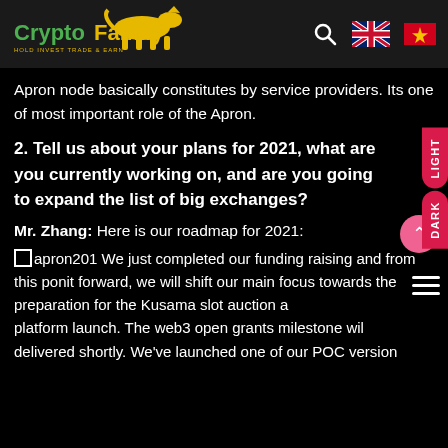Crypto Family — navigation header with search, UK flag, Vietnam flag
Apron node basically constitutes by service providers. Its one of most important role of the Apron.
2. Tell us about your plans for 2021, what are you currently working on, and are you going to expand the list of big exchanges?
Mr. Zhang: Here is our roadmap for 2021:
apron201 We just completed our funding raising and from this ponit forward, we will shift our main focus towards the preparation for the Kusama slot auction and platform launch. The web3 open grants milestone will be delivered shortly. We've launched one of our POC version